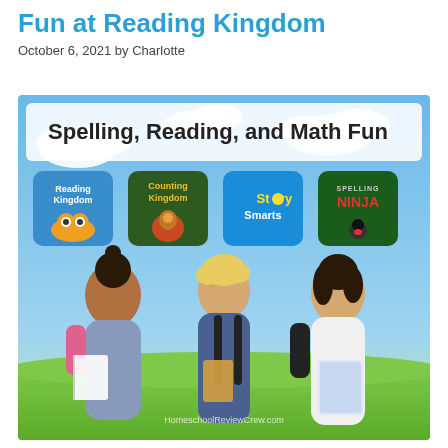Fun at Reading Kingdom
October 6, 2021 by Charlotte
[Figure (illustration): Promotional banner image for educational software including Reading Kingdom, Counting Kingdom, Story Smarts, and Spelling Ninja. Shows three children with backpacks reading books against a blue sky and green grass background, with app icons displayed at top. HomeschoolReviewCrew.com watermark visible. Header text reads 'Spelling, Reading, and Math Fun'.]